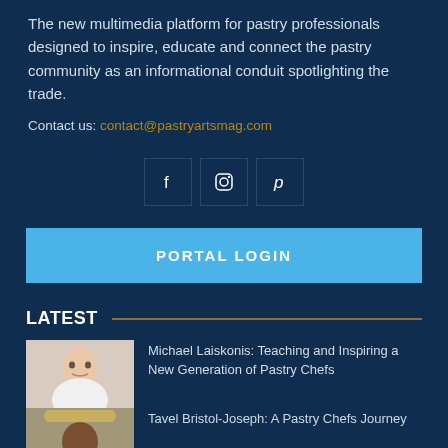The new multimedia platform for pastry professionals designed to inspire, educate and connect the pastry community as an informational conduit spotlighting the trade.
Contact us: contact@pastryartsmag.com
[Figure (infographic): Three social media icon buttons in boxes: Facebook (f), Instagram (camera/circle icon), Pinterest (p)]
PORTAL LOGIN
LATEST
[Figure (photo): Headshot of a man (Michael Laiskonis) against a light background, wearing white shirt, smiling slightly]
Michael Laiskonis: Teaching and Inspiring a New Generation of Pastry Chefs
[Figure (photo): Photo of Tavel Bristol-Joseph, a pastry chef wearing a hat]
Tavel Bristol-Joseph: A Pastry Chefs Journey